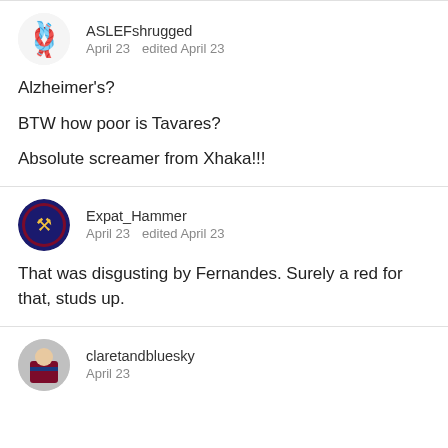[Figure (illustration): Avatar icon for user ASLEFshrugged — stylized black figure/shrug symbol on light background]
ASLEFshrugged
April 23    edited April 23
Alzheimer's?

BTW how poor is Tavares?

Absolute screamer from Xhaka!!!
[Figure (illustration): Avatar icon for user Expat_Hammer — West Ham United crest badge on circular background]
Expat_Hammer
April 23    edited April 23
That was disgusting by Fernandes. Surely a red for that, studs up.
[Figure (illustration): Avatar icon for user claretandbluesky — person in claret and blue shirt, partial view]
claretandbluesky
April 23